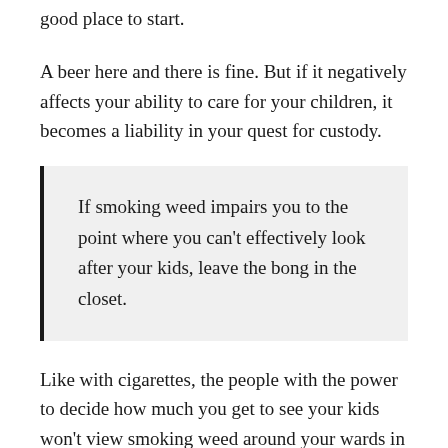good place to start.
A beer here and there is fine. But if it negatively affects your ability to care for your children, it becomes a liability in your quest for custody.
If smoking weed impairs you to the point where you can’t effectively look after your kids, leave the bong in the closet.
Like with cigarettes, the people with the power to decide how much you get to see your kids won’t view smoking weed around your wards in a